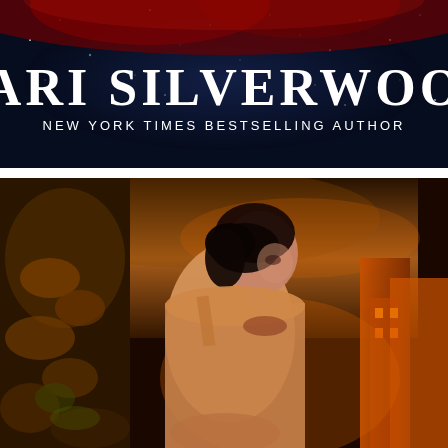[Figure (illustration): Author banner with dark navy starry night sky background and red nebula/cloud at top. Large white serif text reads 'CARI SILVERWOOD' with smaller text below reading 'NEW YORK TIMES BESTSELLING AUTHOR'.]
[Figure (photo): Book cover image showing a dark-haired woman in an off-shoulder golden/amber gown viewed from behind, with a tattoo visible on her upper back. Background features autumnal foliage on the left and urban buildings lit with orange/amber light on the right, with a stormy sky.]